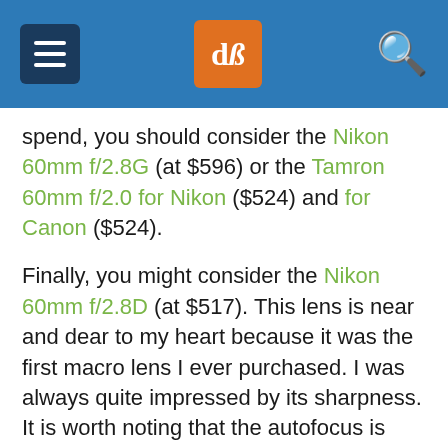dPS navigation header with hamburger menu, logo and search icon
spend, you should consider the Nikon 60mm f/2.8G (at $596) or the Tamron 60mm f/2.0 for Nikon ($524) and for Canon ($524).
Finally, you might consider the Nikon 60mm f/2.8D (at $517). This lens is near and dear to my heart because it was the first macro lens I ever purchased. I was always quite impressed by its sharpness. It is worth noting that the autofocus is quite slow, but I always use manual focus when shooting macro (and you probably should, too!